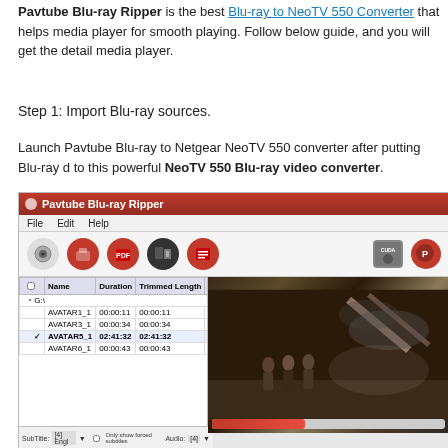Pavtube Blu-ray Ripper is the best Blu-ray to NeoTV 550 Converter that helps… media player for smooth playing. Follow below guide, and you will get the detail… media player.
Step 1: Import Blu-ray sources.
Launch Pavtube Blu-ray to Netgear NeoTV 550 converter after putting Blu-ray d… to this powerful NeoTV 550 Blu-ray video converter.
[Figure (screenshot): Screenshot of Pavtube Blu-ray Ripper application showing file list with AVATAR files (AVATAR1_1, AVATAR3_1, AVATAR5_1 selected with duration 02:41:32, AVATAR6_1) and a preview pane showing a dark movie scene with figures.]